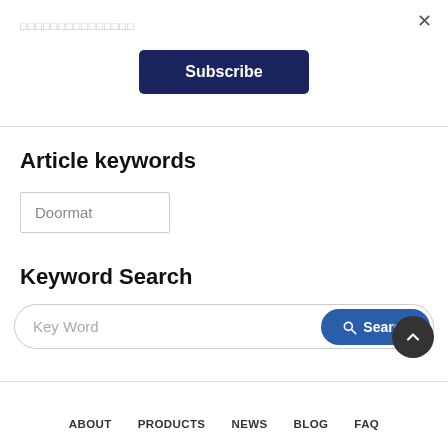□□□□□□□□□□□□□□□
[Figure (other): Subscribe button - dark navy blue rounded rectangle button with white bold text 'Subscribe']
Article keywords
Doormat
Keyword Search
Key Word
[Figure (other): Search button with magnifier icon and text 'Search' in blue rounded button]
[Figure (other): Scroll to top button - dark circle with up chevron arrow]
ABOUT   PRODUCTS   NEWS   BLOG   FAQ